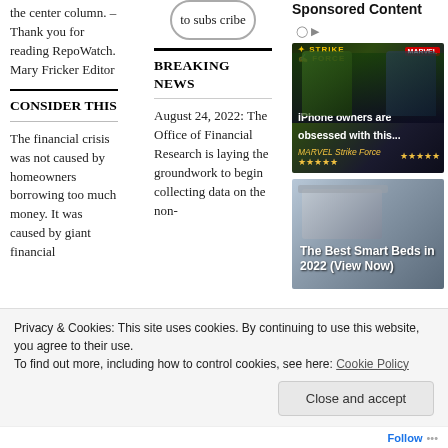the center column. –Thank you for reading RepoWatch. Mary Fricker Editor
CONSIDER THIS
The financial crisis was not caused by homeowners borrowing too much money. It was caused by giant financial
to subscribe
BREAKING NEWS
August 24, 2022: The Office of Financial Research is laying the groundwork to begin collecting data on the non-
Sponsored Content
[Figure (photo): Marvel Strike Force game advertisement showing two characters with text 'iPhone owners are obsessed with this... MARVEL Strike Force']
[Figure (photo): Smart bed advertisement showing a high-tech bed with text 'The Best Smart Beds in 2022 (View Now)']
Privacy & Cookies: This site uses cookies. By continuing to use this website, you agree to their use.
To find out more, including how to control cookies, see here: Cookie Policy
Close and accept